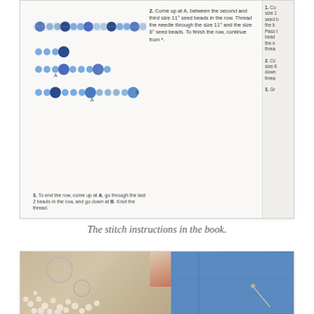[Figure (photo): A book page showing beading/embroidery stitch instructions with bead diagrams (rows of blue beads in different sizes), step-by-step numbered text instructions, and a small footnote. A partial right-hand page is also visible showing truncated text. The book is shown on a light background.]
The stitch instructions in the book.
[Figure (photo): A flat-lay photo showing craft supplies: white pearl/seed beads scattered on a tan surface, a silver hoop/ring, a floral patterned fabric, and blue denim fabric visible in the background.]